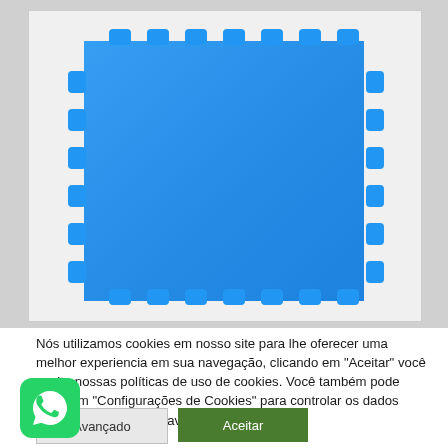[Figure (photo): Blue interlocking foam puzzle mat tile with puzzle-piece edges on all sides, photographed on a white background. The mat is a bright sky blue color with characteristic interlocking tabs along all four edges.]
Nós utilizamos cookies em nosso site para lhe oferecer uma melhor experiencia em sua navegação, clicando em "Aceitar" você aceita nossas políticas de uso de cookies. Você também pode clicar em "Configurações de Cookies" para controlar os dados fornecidos durante a navegação.